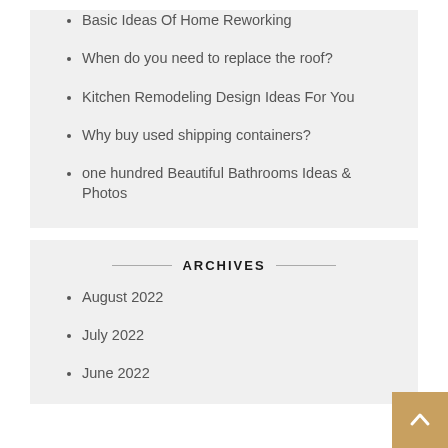Basic Ideas Of Home Reworking
When do you need to replace the roof?
Kitchen Remodeling Design Ideas For You
Why buy used shipping containers?
one hundred Beautiful Bathrooms Ideas & Photos
ARCHIVES
August 2022
July 2022
June 2022